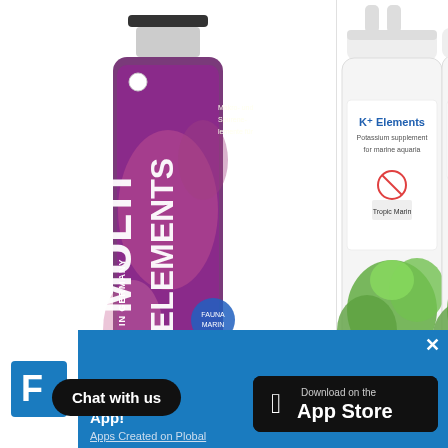[Figure (photo): Fauna Marin Multi Elements A 500ml product bottle - purple/pink label with large text MULTI ELEMENTS, Made in Germany]
Fauna Marin Multi Elements A 500ml
$30
Add to cart
[Figure (photo): Tropic Marin K+ Elements product bottles - white bottles with green algae imagery and K+ Elements label]
Tropic Marin K+ Ele...
$40
Pre-or...
[Figure (logo): FN Marine store logo - blue F letter logo]
N Marine App!
Chat with us
Apps Created on Plobal
[Figure (screenshot): Download on the App Store badge]